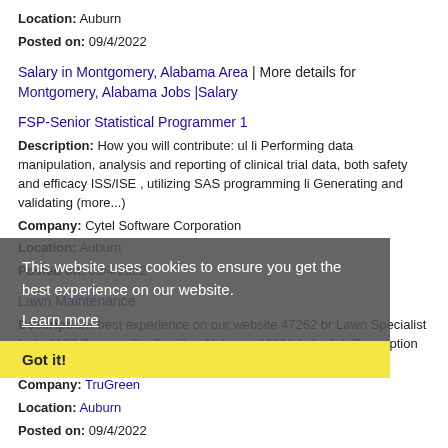Location: Auburn
Posted on: 09/4/2022
Salary in Montgomery, Alabama Area | More details for Montgomery, Alabama Jobs |Salary
FSP-Senior Statistical Programmer 1
Description: How you will contribute: ul li Performing data manipulation, analysis and reporting of clinical trial data, both safety and efficacy ISS/ISE , utilizing SAS programming li Generating and validating (more...)
Company: Cytel Software Corporation
Location: Auburn
Posted on: 09/4/2022
Lawn Maintenance
Description: best experience on our website 47262 br Lawn Specialist br br 1127 Preston St., Opelika, Alabama 36801 br br Job Description br br Do you like being outdoors Do you like a (more...)
Company: TruGreen
Location: Auburn
Posted on: 09/4/2022